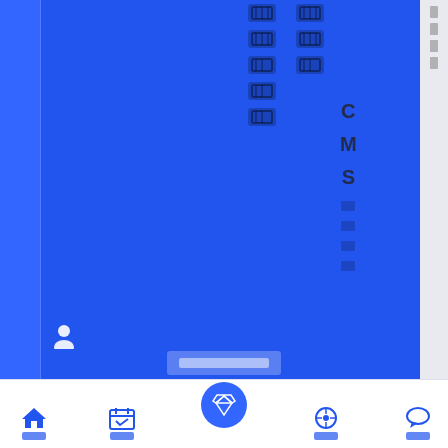[Figure (screenshot): Mobile app UI screenshot with blue background, sidebar navigation, icon columns, CMS menu labels, user profile icon, username bar placeholder, and bottom navigation bar with home, calendar, premium (diamond), WordPress, and chat icons.]
底部导航栏：首页 | 日历 | (diamond) | 博客 | 消息